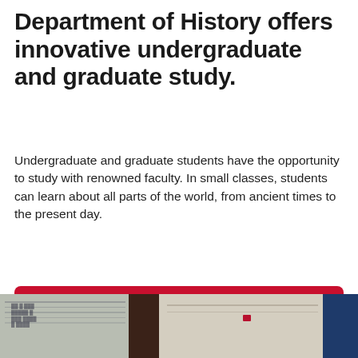Department of History offers innovative undergraduate and graduate study.
Undergraduate and graduate students have the opportunity to study with renowned faculty. In small classes, students can learn about all parts of the world, from ancient times to the present day.
Undergraduate Degrees
Graduate Degrees
[Figure (photo): A strip of classroom/office photos at the bottom of the page showing whiteboards with writing, a doorway, and office materials.]